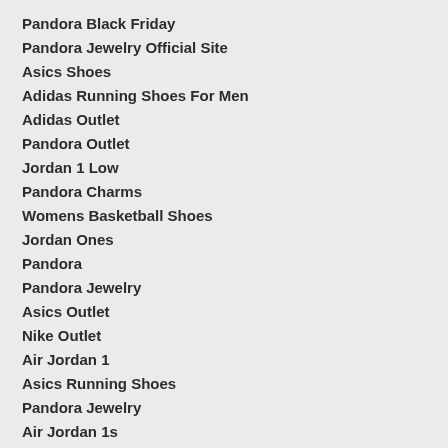Pandora Black Friday
Pandora Jewelry Official Site
Asics Shoes
Adidas Running Shoes For Men
Adidas Outlet
Pandora Outlet
Jordan 1 Low
Pandora Charms
Womens Basketball Shoes
Jordan Ones
Pandora
Pandora Jewelry
Asics Outlet
Nike Outlet
Air Jordan 1
Asics Running Shoes
Pandora Jewelry
Air Jordan 1s
Adidas Men's Shoes
Pandora
Pandora Charms Outlet